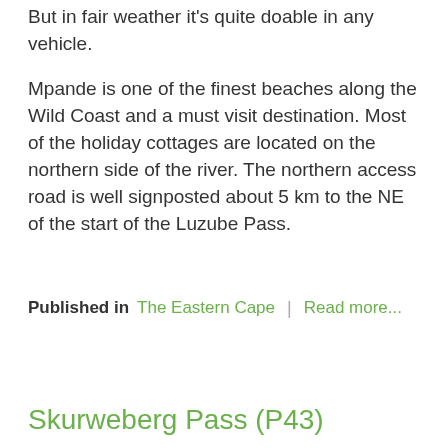But in fair weather it's quite doable in any vehicle.
Mpande is one of the finest beaches along the Wild Coast and a must visit destination. Most of the holiday cottages are located on the northern side of the river. The northern access road is well signposted about 5 km to the NE of the start of the Luzube Pass.
Published in The Eastern Cape | Read more...
Skurweberg Pass (P43)